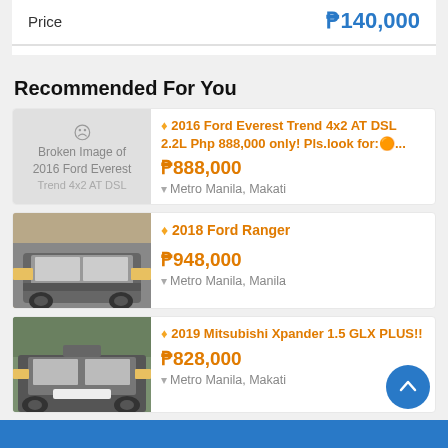| Price |  |
| --- | --- |
| Price | ₱140,000 |
Recommended For You
2016 Ford Everest Trend 4x2 AT DSL 2.2L Php 888,000 only! Pls.look for:🍊... ₱888,000 Metro Manila, Makati
2018 Ford Ranger ₱948,000 Metro Manila, Manila
2019 Mitsubishi Xpander 1.5 GLX PLUS!! ₱828,000 Metro Manila, Makati